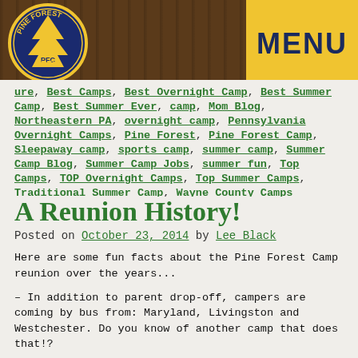[Figure (logo): Pine Forest Camp circular logo with blue and yellow design, PFC letters, tree in center]
MENU
ure, Best Camps, Best Overnight Camp, Best Summer Camp, Best Summer Ever, camp, Mom Blog, Northeastern PA, overnight camp, Pennsylvania Overnight Camps, Pine Forest, Pine Forest Camp, Sleepaway camp, sports camp, summer camp, Summer Camp Blog, Summer Camp Jobs, summer fun, Top Camps, TOP Overnight Camps, Top Summer Camps, Traditional Summer Camp, Wayne County Camps
A Reunion History!
Posted on October 23, 2014 by Lee Black
Here are some fun facts about the Pine Forest Camp reunion over the years...
– In addition to parent drop-off, campers are coming by bus from: Maryland, Livingston and Westchester. Do you know of another camp that does that!?